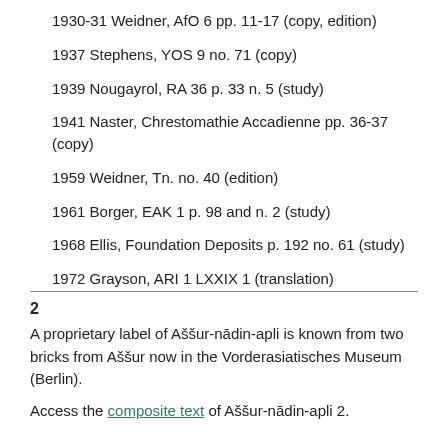1930-31 Weidner, AfO 6 pp. 11-17 (copy, edition)
1937 Stephens, YOS 9 no. 71 (copy)
1939 Nougayrol, RA 36 p. 33 n. 5 (study)
1941 Naster, Chrestomathie Accadienne pp. 36-37 (copy)
1959 Weidner, Tn. no. 40 (edition)
1961 Borger, EAK 1 p. 98 and n. 2 (study)
1968 Ellis, Foundation Deposits p. 192 no. 61 (study)
1972 Grayson, ARI 1 LXXIX 1 (translation)
2
A proprietary label of Aššur-nādin-apli is known from two bricks from Aššur now in the Vorderasiatisches Museum (Berlin).
Access the composite text of Aššur-nādin-apli 2.